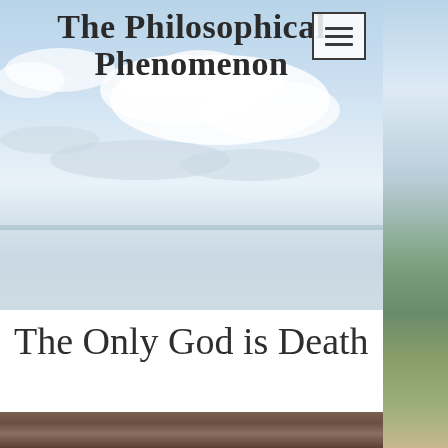[Figure (photo): Website screenshot showing a philosophical blog called 'The Philosophical Phenomenon' with a sky and landscape background photo, hamburger menu icon in top right, and article title 'The Only God is Death' on white background, with a blurred dark photo at the bottom]
The Philosophical Phenomenon
The Only God is Death